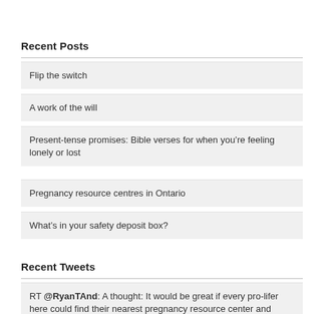Recent Posts
Flip the switch
A work of the will
Present-tense promises: Bible verses for when you're feeling lonely or lost
Pregnancy resource centres in Ontario
What's in your safety deposit box?
Recent Tweets
RT @RyanTAnd: A thought: It would be great if every pro-lifer here could find their nearest pregnancy resource center and make a